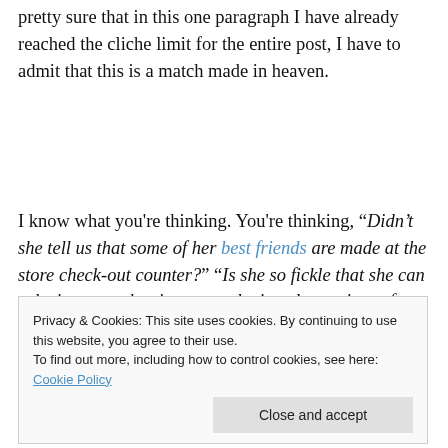pretty sure that in this one paragraph I have already reached the cliche limit for the entire post, I have to admit that this is a match made in heaven.
I know what you're thinking. You're thinking, "Didn't she tell us that some of her best friends are made at the store check-out counter?" "Is she so fickle that she can substitute a rather impersonal, virtual experience for a
Privacy & Cookies: This site uses cookies. By continuing to use this website, you agree to their use. To find out more, including how to control cookies, see here: Cookie Policy
Close and accept
and yes I can. The truth is that what appeared to be a